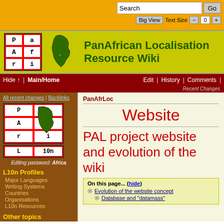Search | Go | Big View | Text Size - 0 +
[Figure (logo): PanAfrican Localisation Resource Wiki banner with PAL L10n logo and Africa map]
Hide | Main/Home | Edit | History | Comments | Recent Changes
All recent changes | Backlinks
[Figure (logo): PAL L10n logo with Africa map sidebar]
Editing password: Africa
L10n Profiles
Major Languages
Writing Systems
Countries
Organisations
L10n Resources
Other topics
Documents
Linguistics
Standards
Workshops & meetings
PanAfrLoc
Website
PAL project website and evolution of the wiki
On this page... (hide)
Evolution of the website concept
Database and "datamass"